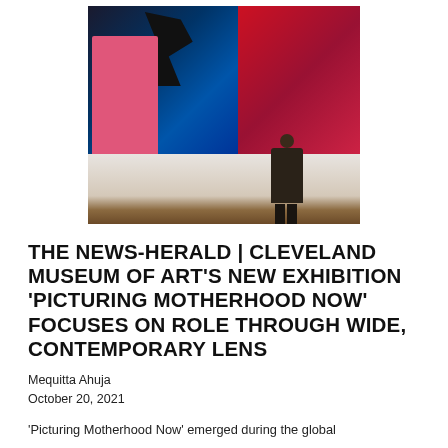[Figure (photo): A museum gallery interior showing a large colorful painting with a pink-clad figure holding a portrait and a large dark bird on blue background, with a red panel on right. A man in a dark suit stands with his back to the viewer looking at the artwork. Wooden floor visible.]
THE NEWS-HERALD | CLEVELAND MUSEUM OF ART'S NEW EXHIBITION 'PICTURING MOTHERHOOD NOW' FOCUSES ON ROLE THROUGH WIDE, CONTEMPORARY LENS
Mequitta Ahuja
October 20, 2021
'Picturing Motherhood Now' emerged during the global